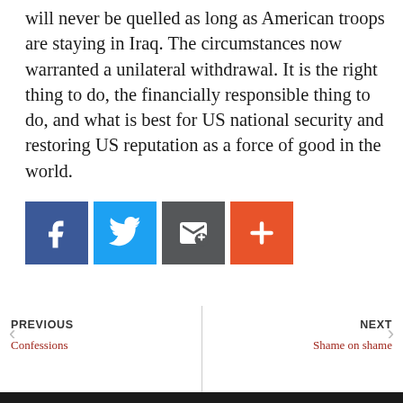will never be quelled as long as American troops are staying in Iraq. The circumstances now warranted a unilateral withdrawal. It is the right thing to do, the financially responsible thing to do, and what is best for US national security and restoring US reputation as a force of good in the world.
[Figure (infographic): Four social sharing buttons: Facebook (blue), Twitter (light blue), Email/envelope (dark grey), and a red plus/share button]
PREVIOUS
Confessions
NEXT
Shame on shame